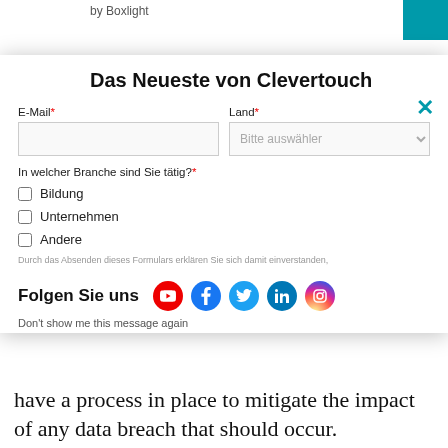access. We store both physical and electronic
[Figure (screenshot): Clevertouch newsletter signup modal overlay with title 'Das Neueste von Clevertouch', email and country fields, industry checkboxes (Bildung, Unternehmen, Andere), social media icons (YouTube, Facebook, Twitter, LinkedIn, Instagram), and 'Don't show me this message again' link. Pink triangle logo and teal rectangle in header. Close X button.]
have a process in place to mitigate the impact of any data breach that should occur.